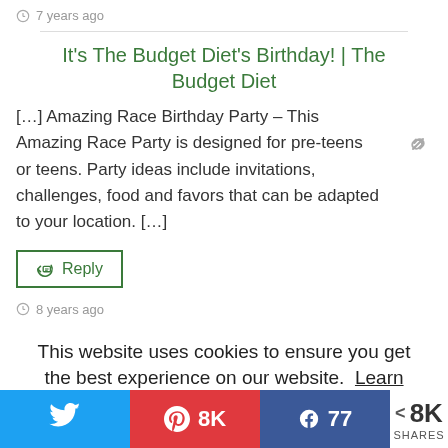7 years ago
It's The Budget Diet's Birthday! | The Budget Diet
[…] Amazing Race Birthday Party – This Amazing Race Party is designed for pre-teens or teens. Party ideas include invitations, challenges, food and favors that can be adapted to your location. […]
Reply
8 years ago
This website uses cookies to ensure you get the best experience on our website. Learn more
G
n
Got it!
8K  SHARES